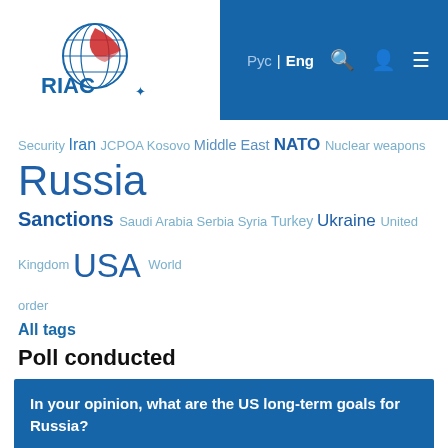[Figure (logo): RIAC logo — globe with Russia flag colors and 'RIAC' text]
Рус | Eng  🔍  👤  ☰
Security Iran JCPOA Kosovo Middle East NATO Nuclear weapons Russia Sanctions Saudi Arabia Serbia Syria Turkey Ukraine United Kingdom USA World order
All tags
Poll conducted
In your opinion, what are the US long-term goals for Russia?
U.S. wants to establish partnership relations with Russia on condition that it meets  33 (31%)